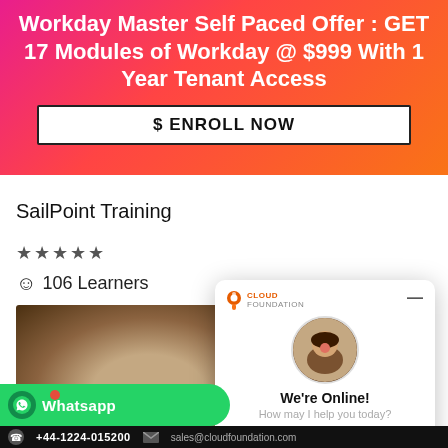Workday Master Self Paced Offer : GET 17 Modules of Workday @ $999 With 1 Year Tenant Access
$ ENROLL NOW
SailPoint Training
★★★★★
☺ 106 Learners
[Figure (photo): Course thumbnail showing a student from behind, with brown hair]
[Figure (screenshot): Cloud Foundation chat popup widget showing 'We're Online! How may I help you today?' with a Chat now button and profile photo]
Whatsapp
+44-1224-015200
sales@cloudfoundation.com